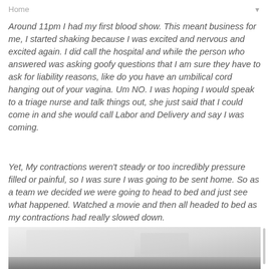Home
Around 11pm I had my first blood show. This meant business for me, I started shaking because I was excited and nervous and excited again. I did call the hospital and while the person who answered was asking goofy questions that I am sure they have to ask for liability reasons, like do you have an umbilical cord hanging out of your vagina. Um NO. I was hoping I would speak to a triage nurse and talk things out, she just said that I could come in and she would call Labor and Delivery and say I was coming.
Yet, My contractions weren't steady or too incredibly pressure filled or painful, so I was sure I was going to be sent home. So as a team we decided we were going to head to bed and just see what happened. Watched a movie and then all headed to bed as my contractions had really slowed down.
[Figure (photo): A partial photo of a room, appears to be a bedroom or hospital room, shown in black and white / grayscale tones. The image is cropped at the bottom of the page.]